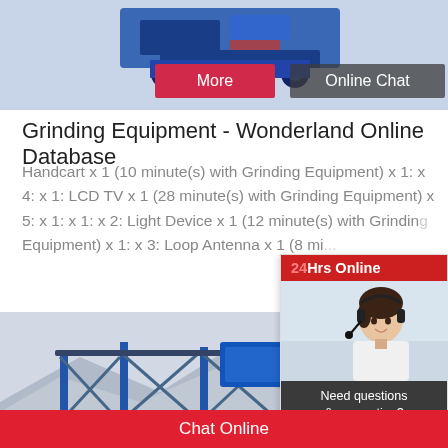[Figure (photo): Top image strip showing industrial grinding equipment (blue/dark colored machine) with 'More' and 'Online Chat' buttons overlaid]
Grinding Equipment - Wonderland Online Database
Handcart x 1 (10 minute(s) with Grinding Equipment) x 1: x 4: x 1: LCD TV x 1 (28 minute(s) with Grinding Equipment) x 5: x 1: x 1: x 2: Light Device x 1 (12 minute(s) with Grinding Equipment) x 1: x 3: Loop Antenna x 1 (8 mi...
[Figure (photo): Bottom image showing industrial construction equipment/scaffolding structure with mountains in background]
[Figure (infographic): Right sidebar widget with '24Hrs Online' red header, photo of woman with headset, dark background text 'Need questions & suggestion?', and red 'Chat Now' button]
Chat Online